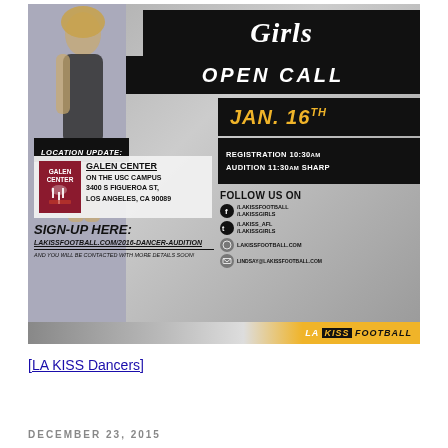[Figure (infographic): LA KISS Girls Open Call audition flyer. Date: Jan. 16th. Location: Galen Center on the USC Campus, 3400 S Figueroa St, Los Angeles, CA 90089. Registration 10:30am, Audition 11:30am Sharp. Sign-up at lakissfootball.com/2016-dancer-audition. Social media: /LAKISSFOOTBALL, /LAKISSGIRLS on Facebook; /LAKISS_AFL, /LAKISSGIRLS on Twitter; LAKISSFOOTBALL.COM; LINDSAY@LAKISSFOOTBALL.COM. LA KISS Football branding.]
[LA KISS Dancers]
DECEMBER 23, 2015